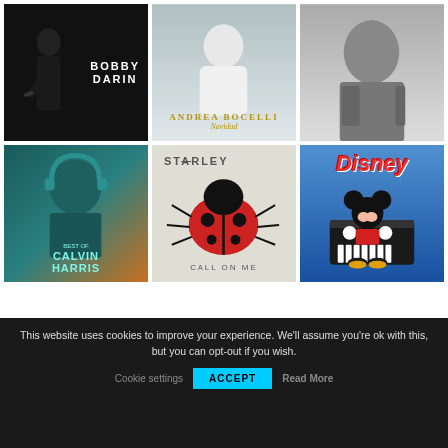[Figure (photo): Bobby Darin album cover – black background with silhouette of man and text BOBBY DARIN in white]
[Figure (photo): Andrea Bocelli Navidad album cover – white/grey background with artist in white suit, gold text]
[Figure (photo): Adam Levine black and white photo – man with tattoos in tank top]
[Figure (photo): Best of Calvin Harris album cover – teal/orange gradient with man wearing headphones, teal text]
[Figure (photo): Starley Call On Me album cover – light background with ladybug, text STARLEY and CALL ON ME]
[Figure (photo): Disney album cover – blue background with Mickey Mouse at piano and red Disney logo]
This website uses cookies to improve your experience. We'll assume you're ok with this, but you can opt-out if you wish.
Cookie settings
ACCEPT
Read More